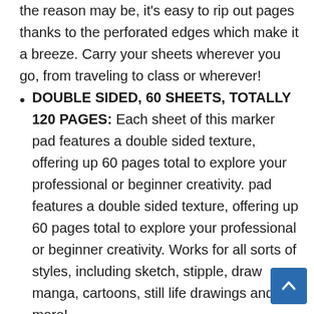the reason may be, it's easy to rip out pages thanks to the perforated edges which make it a breeze. Carry your sheets wherever you go, from traveling to class or wherever!
DOUBLE SIDED, 60 SHEETS, TOTALLY 120 PAGES: Each sheet of this marker pad features a double sided texture, offering up 60 pages total to explore your professional or beginner creativity. pad features a double sided texture, offering up 60 pages total to explore your professional or beginner creativity. Works for all sorts of styles, including sketch, stipple, draw manga, cartoons, still life drawings and more!
ACID-FREE ART PAPERS WITH MAXIMUM BLENDABILITY: Keep your artwork looking great for years to come since it's 100% acid-free and even better, this marker pad is crafted specifically for use with Ohuhu markers for seamless blending. Customize Back to School Christmas...